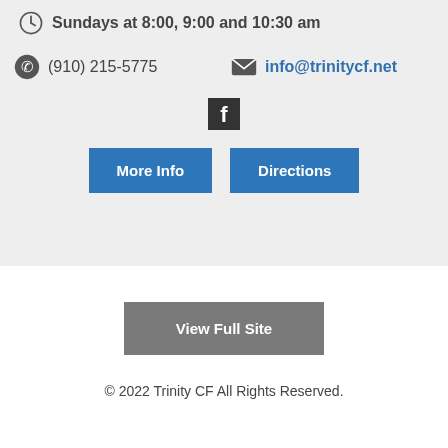Sundays at 8:00, 9:00 and 10:30 am
(910) 215-5775
info@trinitycf.net
[Figure (logo): Facebook logo icon (white F on dark background)]
More Info
Directions
View Full Site
© 2022 Trinity CF All Rights Reserved.